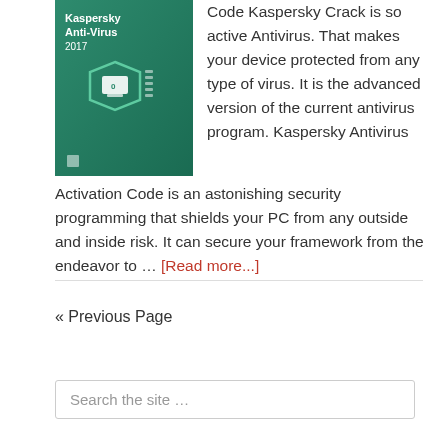[Figure (illustration): Kaspersky Anti-Virus 2017 product box art with green hexagonal design]
Code Kaspersky Crack is so active Antivirus. That makes your device protected from any type of virus. It is the advanced version of the current antivirus program. Kaspersky Antivirus Activation Code is an astonishing security programming that shields your PC from any outside and inside risk. It can secure your framework from the endeavor to … [Read more...]
« Previous Page
Search the site ...